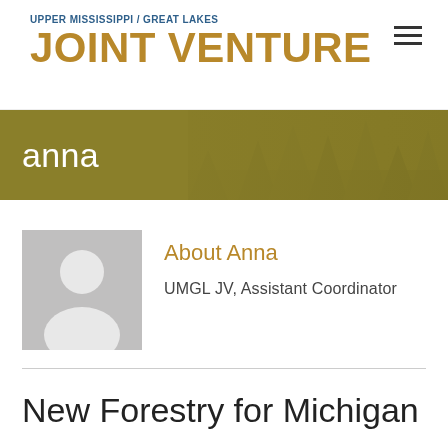UPPER MISSISSIPPI / GREAT LAKES
JOINT VENTURE
anna
About Anna
UMGL JV, Assistant Coordinator
New Forestry for Michigan